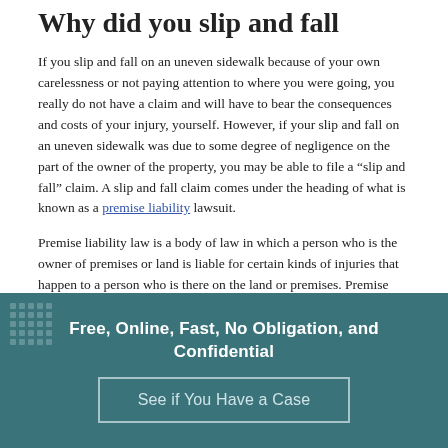Why did you slip and fall
If you slip and fall on an uneven sidewalk because of your own carelessness or not paying attention to where you were going, you really do not have a claim and will have to bear the consequences and costs of your injury, yourself. However, if your slip and fall on an uneven sidewalk was due to some degree of negligence on the part of the owner of the property, you may be able to file a “slip and fall” claim. A slip and fall claim comes under the heading of what is known as a premise liability lawsuit.
Premise liability law is a body of law in which a person who is the owner of premises or land is liable for certain kinds of injuries that happen to a person who is there on the land or premises. Premise liability laws vary from state to state...
Free, Online, Fast, No Obligation, and Confidential
See if You Have a Case